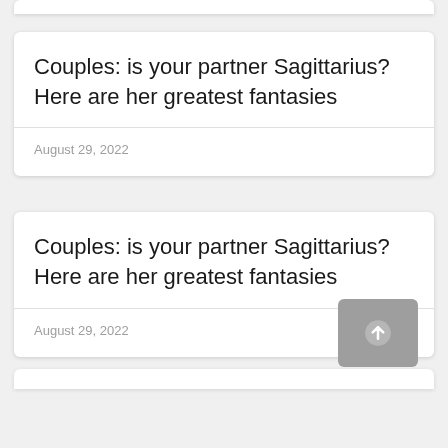Couples: is your partner Sagittarius? Here are her greatest fantasies
August 29, 2022
Couples: is your partner Sagittarius? Here are her greatest fantasies
August 29, 2022